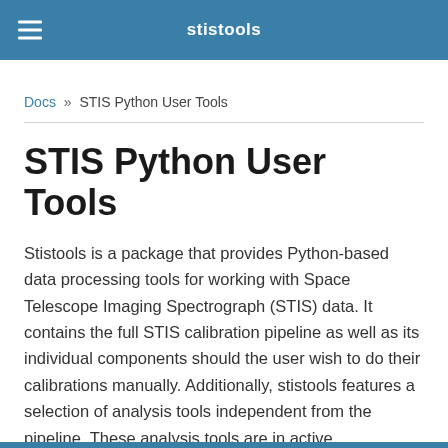stistools
Docs » STIS Python User Tools
STIS Python User Tools
Stistools is a package that provides Python-based data processing tools for working with Space Telescope Imaging Spectrograph (STIS) data. It contains the full STIS calibration pipeline as well as its individual components should the user wish to do their calibrations manually. Additionally, stistools features a selection of analysis tools independent from the pipeline. These analysis tools are in active development, so there is more to come.